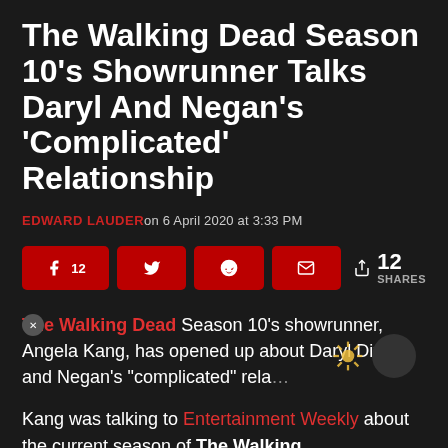The Walking Dead Season 10’s Showrunner Talks Daryl And Negan’s ‘Complicated’ Relationship
EDWARD LAUDERon 6 April 2020 at 3:33 PM
[Figure (other): Social share buttons: Facebook (12), Twitter, Reddit, Email, with share count of 12 SHARES]
The Walking Dead Season 10’s showrunner, Angela Kang, has opened up about Daryl Dixon and Negan’s “complicated” rela...
Kang was talking to Entertainment Weekly about the current season of The Walking